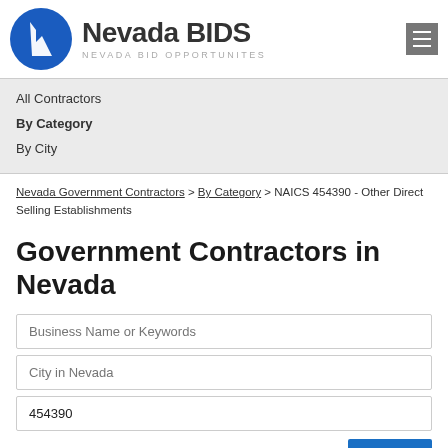[Figure (logo): Nevada BIDS logo with Nevada state outline in blue circle, text 'Nevada BIDS' and subtitle 'NEVADA BID OPPORTUNITES']
All Contractors
By Category
By City
Nevada Government Contractors > By Category > NAICS 454390 - Other Direct Selling Establishments
Government Contractors in Nevada
Business Name or Keywords
City in Nevada
454390